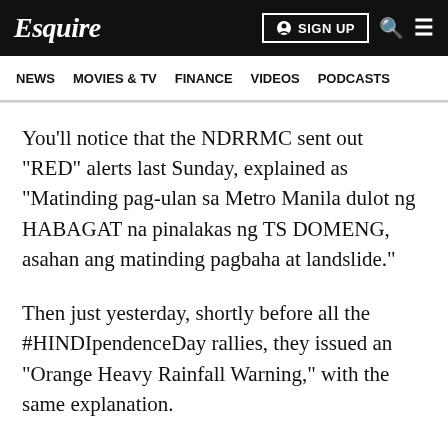Esquire | SIGN UP
NEWS   MOVIES & TV   FINANCE   VIDEOS   PODCASTS
You'll notice that the NDRRMC sent out "RED" alerts last Sunday, explained as "Matinding pag-ulan sa Metro Manila dulot ng HABAGAT na pinalakas ng TS DOMENG, asahan ang matinding pagbaha at landslide."
Then just yesterday, shortly before all the #HINDIpendenceDay rallies, they issued an "Orange Heavy Rainfall Warning," with the same explanation.
So what do these color codes mean, exactly?